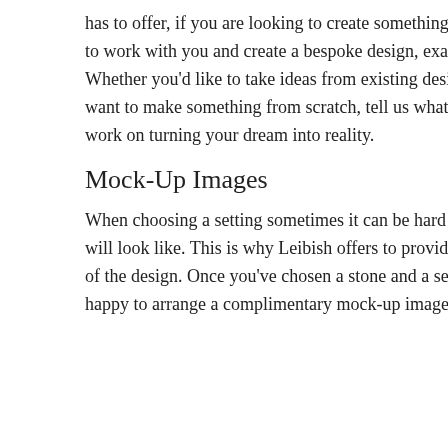has to offer, if you are looking to create something truly unique we will be happy to work with you and create a bespoke design, exactly the way YOU want it. Whether you'd like to take ideas from existing designs you've seen online or you want to make something from scratch, tell us what you'd like and we will get to work on turning your dream into reality.
Mock-Up Images
When choosing a setting sometimes it can be hard to visualize what the product will look like. This is why Leibish offers to provide customers a mock-up image of the design. Once you've chosen a stone and a setting, contact us and we'll be happy to arrange a complimentary mock-up image.
Step 3: Completing Your Order + Manufacturing
Terrific! Now you have chosen your stone and setting and you're ready to complete your purchase. Your order may be completed online or by contacting us.